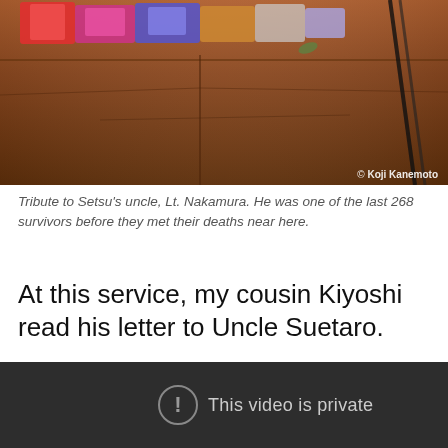[Figure (photo): Photo of tribute items on a wooden surface, partially visible at top. Copyright watermark reads '© Koji Kanemoto' in bottom right corner.]
Tribute to Setsu's uncle, Lt. Nakamura. He was one of the last 268 survivors before they met their deaths near here.
At this service, my cousin Kiyoshi read his letter to Uncle Suetaro.
[Figure (screenshot): Video player showing 'This video is private' message with an exclamation mark icon on a dark background.]